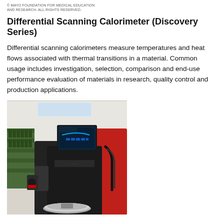© MAYO FOUNDATION FOR MEDICAL EDUCATION AND RESEARCH. ALL RIGHTS RESERVED.
Differential Scanning Calorimeter (Discovery Series)
Differential scanning calorimeters measure temperatures and heat flows associated with thermal transitions in a material. Common usage includes investigation, selection, comparison and end-use performance evaluation of materials in research, quality control and production applications.
[Figure (photo): Photo of a Differential Scanning Calorimeter (Discovery Series) instrument in a laboratory setting. The device is black and red with a touchscreen display on top and a circular sample pan platform visible at the bottom front.]